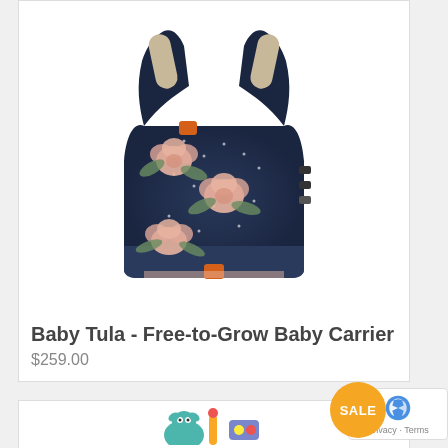[Figure (photo): Baby Tula Free-to-Grow Baby Carrier in navy blue with pink floral pattern and green leaves on white dotted fabric, with orange brand labels, black shoulder straps and buckles]
Baby Tula - Free-to-Grow Baby Carrier
$259.00
[Figure (photo): Partial view of a colorful toy (elephant/animal toy) at the bottom of the page, with a SALE badge overlay]